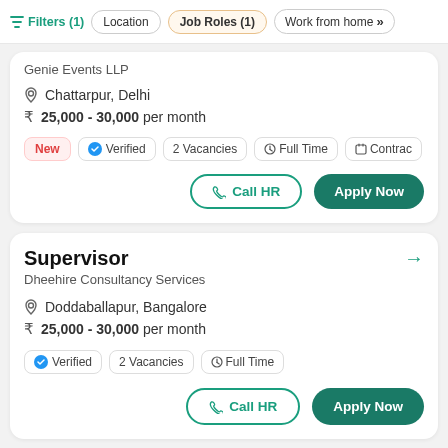Filters (1)  Location  Job Roles (1)  Work from home
Genie Events LLP
Chattarpur, Delhi
25,000 - 30,000 per month
New  Verified  2 Vacancies  Full Time  Contract
Call HR  Apply Now
Supervisor
Dheehire Consultancy Services
Doddaballapur, Bangalore
25,000 - 30,000 per month
Verified  2 Vacancies  Full Time
Call HR  Apply Now